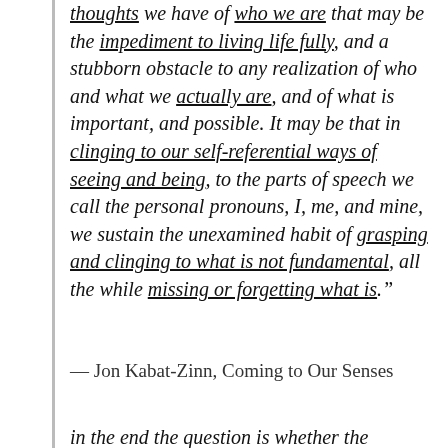thoughts we have of who we are that may be the impediment to living life fully, and a stubborn obstacle to any realization of who and what we actually are, and of what is important, and possible. It may be that in clinging to our self-referential ways of seeing and being, to the parts of speech we call the personal pronouns, I, me, and mine, we sustain the unexamined habit of grasping and clinging to what is not fundamental, all the while missing or forgetting what is.”
— Jon Kabat-Zinn, Coming to Our Senses